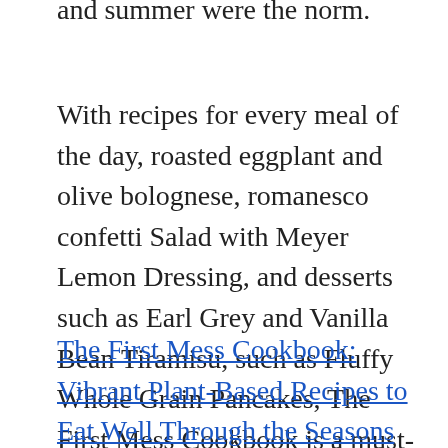and summer were the norm.
With recipes for every meal of the day, roasted eggplant and olive bolognese, romanesco confetti Salad with Meyer Lemon Dressing, and desserts such as Earl Grey and Vanilla Bean Tiramisu, such as Fluffy Whole Grain Pancakes, The First Mess Cookbook is a must-have for any home cook looking to prepare nourishing plant-based meals with the best the seasons have to offer.
The First Mess Cookbook: Vibrant Plant-Based Recipes to Eat Well Through the Seasons #ad - . In her debut cookbook, Wright presents a visually stunning collection of heirloom-quality recipes highlighting the beauty of the seasons. Home cooks head to the first